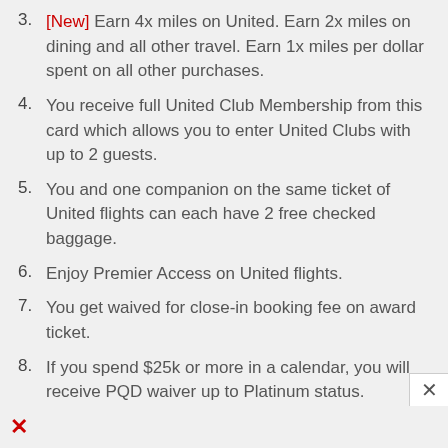[New] Earn 4x miles on United. Earn 2x miles on dining and all other travel. Earn 1x miles per dollar spent on all other purchases.
You receive full United Club Membership from this card which allows you to enter United Clubs with up to 2 guests.
You and one companion on the same ticket of United flights can each have 2 free checked baggage.
Enjoy Premier Access on United flights.
You get waived for close-in booking fee on award ticket.
If you spend $25k or more in a calendar, you will receive PQD waiver up to Platinum status.